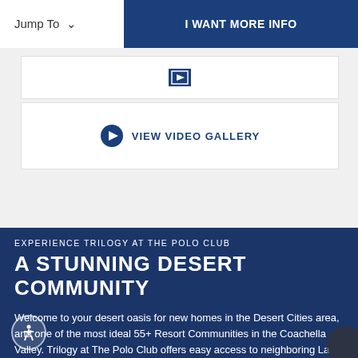Jump To  |  I WANT MORE INFO
[Figure (other): Image gallery icon button in white box]
VIEW VIDEO GALLERY
EXPERIENCE TRILOGY AT THE POLO CLUB
A STUNNING DESERT COMMUNITY
Welcome to your desert oasis for new homes in the Desert Cities area, and one of the most ideal 55+ Resort Communities in the Coachella Valley. Trilogy at The Polo Club offers easy access to neighboring La Quinta, Palm Desert and all the California Desert Cities. Just over 30 minutes from iconic Palm Springs, Trilogy's central location in Indio means convenient access to fashionable